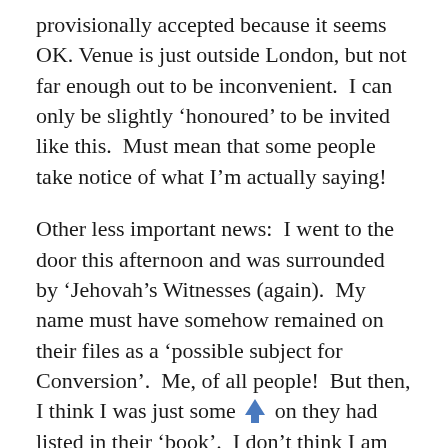provisionally accepted because it seems OK. Venue is just outside London, but not far enough out to be inconvenient.  I can only be slightly ‘honoured’ to be invited like this.  Must mean that some people take notice of what I’m actually saying!
Other less important news:  I went to the door this afternoon and was surrounded by ‘Jehovah’s Witnesses (again).  My name must have somehow remained on their files as a ‘possible subject for Conversion’.  Me, of all people!  But then, I think I was just some ↑ on they had listed in their ‘book’.  I don’t think I am intolerant – but on the other hand, I just cannot take to intolerant people.